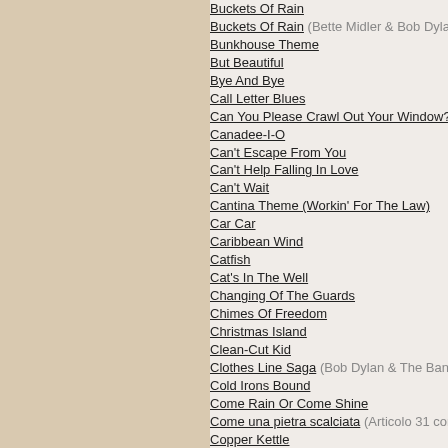Buckets Of Rain
Buckets Of Rain (Bette Midler & Bob Dylan)
Bunkhouse Theme
But Beautiful
Bye And Bye
Call Letter Blues
Can You Please Crawl Out Your Window?
Canadee-I-O
Can't Escape From You
Can't Help Falling In Love
Can't Wait
Cantina Theme (Workin' For The Law)
Car Car
Caribbean Wind
Catfish
Cat's In The Well
Changing Of The Guards
Chimes Of Freedom
Christmas Island
Clean-Cut Kid
Clothes Line Saga (Bob Dylan & The Band)
Cold Irons Bound
Come Rain Or Come Shine
Come una pietra scalciata (Articolo 31 con Bob D...)
Copper Kettle
Corrina, Corrina
Country Pie
Covenant Woman
Crash On The Levee (Down In The Flood) (Bob D... The Band)
Creep
'Cross The Green Mountain
Crossing The Rubicon
Cry A While
Dark Eyes
Day In, Day Out
Days Of 49
Days Of The Locusts